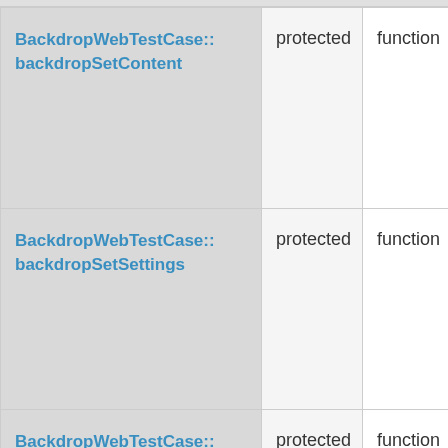| Name | Access | Type |
| --- | --- | --- |
| BackdropWebTestCase::backdropSetContent | protected | function |
| BackdropWebTestCase::backdropSetSettings | protected | function |
| BackdropWebTestCase::buildXPathQuery | protected | function |